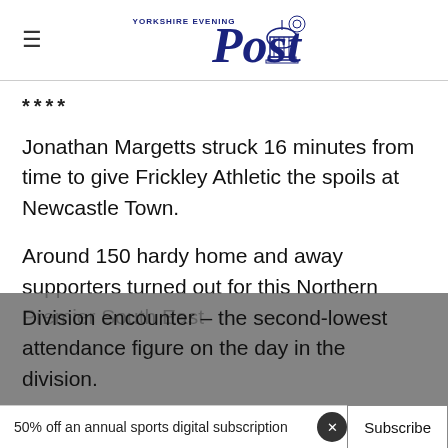Yorkshire Evening Post
****
Jonathan Margetts struck 16 minutes from time to give Frickley Athletic the spoils at Newcastle Town.
Around 150 hardy home and away supporters turned out for this Northern Premier South East Division encounter – the second-lowest attendance figure on the day in the division.
50% off an annual sports digital subscription  Subscribe